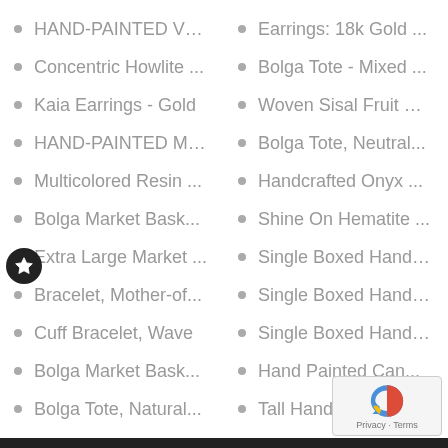HAND-PAINTED VO...
Concentric Howlite ...
Kaia Earrings - Gold
HAND-PAINTED MU...
Multicolored Resin ...
Bolga Market Bask...
Extra Large Market ...
Bracelet, Mother-of...
Cuff Bracelet, Wave
Bolga Market Bask...
Bolga Tote, Natural...
Onyx Ethnic Brass a...
Earrings: 18k Gold ...
Bolga Tote - Mixed ...
Woven Sisal Fruit Ba...
Bolga Tote, Neutral...
Handcrafted Onyx ...
Shine On Hematite ...
Single Boxed Hand-...
Single Boxed Hand-...
Single Boxed Hand-...
Hand Painted Can...
Tall Hand Painted ...
Wooden Hair Pins, S...